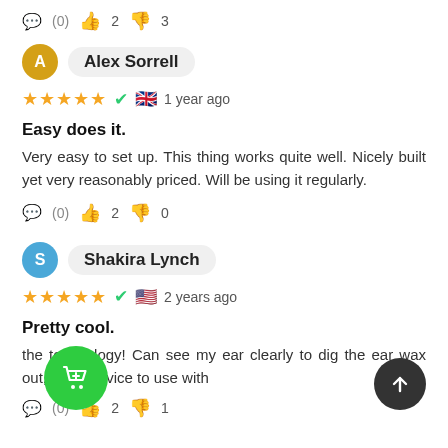(0)  👍 2  👎 3
Alex Sorrell
★★★★★ ✓ 🇬🇧 1 year ago
Easy does it.
Very easy to set up. This thing works quite well. Nicely built yet very reasonably priced. Will be using it regularly.
(0)  👍 2  👎 0
Shakira Lynch
★★★★★ ✓ 🇺🇸 2 years ago
Pretty cool.
...the technology! Can see my ear clearly to dig the ear wax out, great device to use with
(0)  👍 2  👎 1